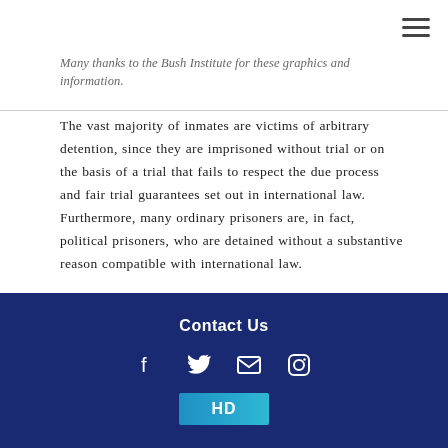Many thanks to the Bush Institute for these graphics and information.
The vast majority of inmates are victims of arbitrary detention, since they are imprisoned without trial or on the basis of a trial that fails to respect the due process and fair trial guarantees set out in international law. Furthermore, many ordinary prisoners are, in fact, political prisoners, who are detained without a substantive reason compatible with international law.
Contact Us